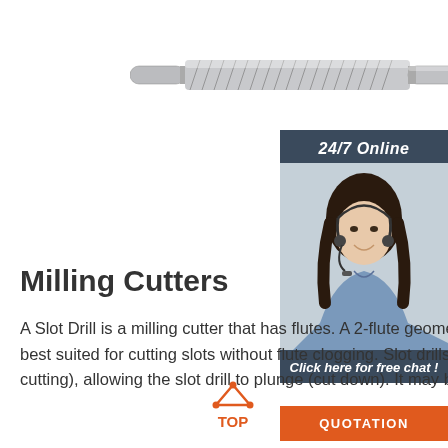[Figure (photo): A cylindrical milling cutter / slot drill tool, metallic silver, shown horizontally against white background]
[Figure (photo): 24/7 Online customer service sidebar: dark blue header reading '24/7 Online', photo of smiling woman with headset, dark blue panel reading 'Click here for free chat!', orange button reading 'QUOTATION']
Milling Cutters
A Slot Drill is a milling cutter that has flutes. A 2-flute geometry allows for greater chip evacuation which is best suited for cutting slots without flute clogging. Slot drills will have 1 flute that is to the centre (centre-cutting), allowing the slot drill to plunge (cut down). It may be beneficial to
[Figure (logo): TOP icon: orange triangular arrow pointing upward with orange dots, text 'TOP' in orange below]